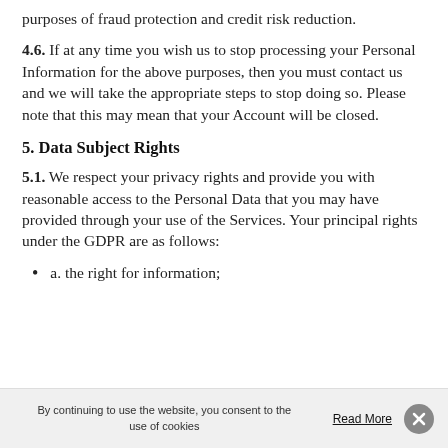purposes of fraud protection and credit risk reduction.
4.6. If at any time you wish us to stop processing your Personal Information for the above purposes, then you must contact us and we will take the appropriate steps to stop doing so. Please note that this may mean that your Account will be closed.
5. Data Subject Rights
5.1. We respect your privacy rights and provide you with reasonable access to the Personal Data that you may have provided through your use of the Services. Your principal rights under the GDPR are as follows:
a. the right for information;
By continuing to use the website, you consent to the use of cookies   Read More  ✕